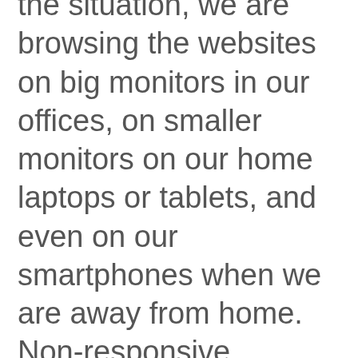the situation, we are browsing the websites on big monitors in our offices, on smaller monitors on our home laptops or tablets, and even on our smartphones when we are away from home. Non-responsive websites usually look good and give the best user experience on bigger screens. On the other hand, there are websites optimized for mobile devices and they usually look bad on monitors. One approach is to create and maintain two websites, one for desktops and one for